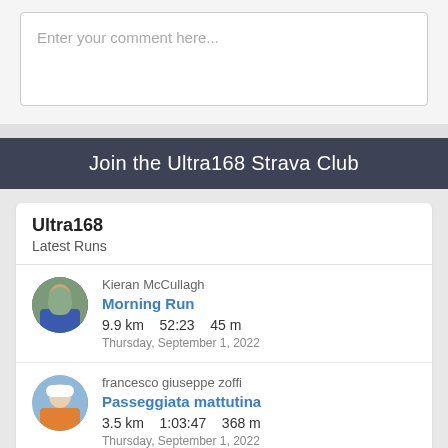Enter your comment here...
Join the Ultra168 Strava Club
Ultra168
Latest Runs
Kieran McCullagh
Morning Run
9.9 km   52:23   45 m
Thursday, September 1, 2022
francesco giuseppe zoffi
Passeggiata mattutina
3.5 km   1:03:47   368 m
Thursday, September 1, 2022
Andrew McDowall
Easy up